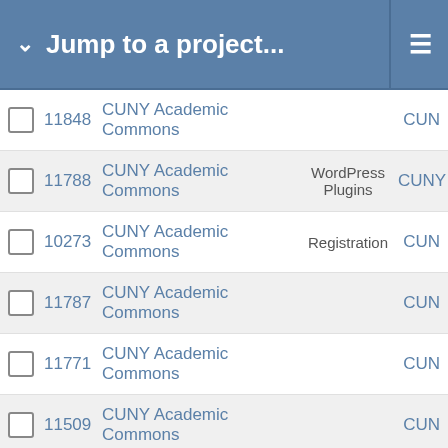Jump to a project...
|  | Issue # | Project | Tag |  |
| --- | --- | --- | --- | --- |
| ☐ | 11848 | CUNY Academic Commons |  | CUN |
| ☐ | 11788 | CUNY Academic Commons | WordPress Plugins | CUNY |
| ☐ | 10273 | CUNY Academic Commons | Registration | CUN |
| ☐ | 11787 | CUNY Academic Commons |  | CUN |
| ☐ | 11771 | CUNY Academic Commons |  | CUN |
| ☐ | 11509 | CUNY Academic Commons |  | CUN |
| ☐ | 10982 | CUNY Academic Commons | Domain Mapping | CUN |
| ☐ | 10657 | CUNY Academic Commons |  | CUN |
| ☐ | 15612 | CUNY Academic Commons |  |  |